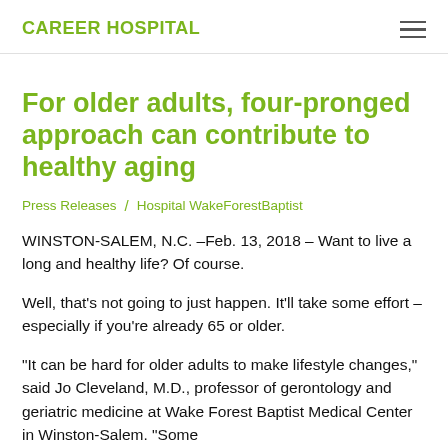CAREER HOSPITAL
For older adults, four-pronged approach can contribute to healthy aging
Press Releases / Hospital WakeForestBaptist
WINSTON-SALEM, N.C. –Feb. 13, 2018 – Want to live a long and healthy life? Of course.
Well, that's not going to just happen. It'll take some effort – especially if you're already 65 or older.
“It can be hard for older adults to make lifestyle changes,” said Jo Cleveland, M.D., professor of gerontology and geriatric medicine at Wake Forest Baptist Medical Center in Winston-Salem. “Some